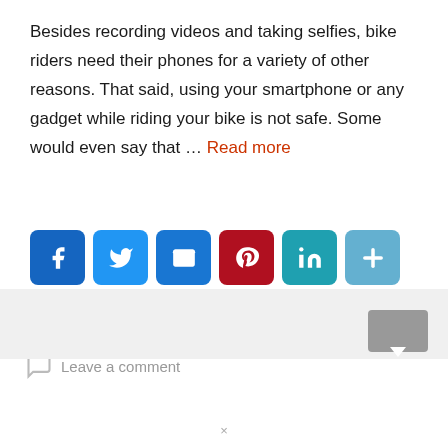Besides recording videos and taking selfies, bike riders need their phones for a variety of other reasons. That said, using your smartphone or any gadget while riding your bike is not safe. Some would even say that … Read more
[Figure (infographic): Social media share buttons: Facebook, Twitter, Email, Pinterest, LinkedIn, and a More (+) button]
Accessories
Leave a comment